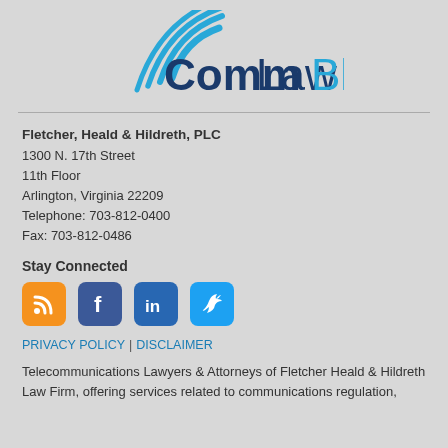[Figure (logo): CommLawBlog logo with blue wave arcs above dark blue text]
Fletcher, Heald & Hildreth, PLC
1300 N. 17th Street
11th Floor
Arlington, Virginia 22209
Telephone: 703-812-0400
Fax: 703-812-0486
Stay Connected
[Figure (infographic): Social media icons: RSS (orange), Facebook (blue), LinkedIn (blue), Twitter (light blue)]
PRIVACY POLICY | DISCLAIMER
Telecommunications Lawyers & Attorneys of Fletcher Heald & Hildreth Law Firm, offering services related to communications regulation, broadcasting, advertising, licensing, Internet, Communications...